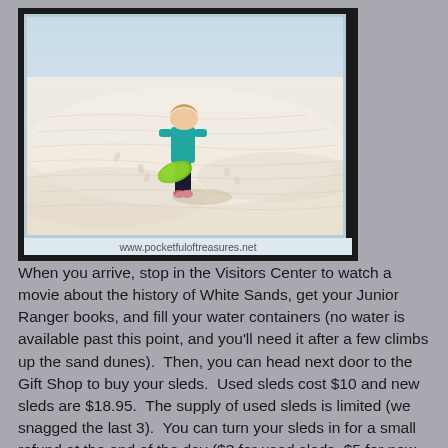[Figure (photo): A child standing on white sand dunes at White Sands, holding a green sled disc. The background shows bright white sand with footprints. The photo has a light blue border and dark outer frame. URL watermark: www.pocketfuloftreasures.net]
When you arrive, stop in the Visitors Center to watch a movie about the history of White Sands, get your Junior Ranger books, and fill your water containers (no water is available past this point, and you'll need it after a few climbs up the sand dunes).  Then, you can head next door to the Gift Shop to buy your sleds.  Used sleds cost $10 and new sleds are $18.95.  The supply of used sleds is limited (we snagged the last 3).  You can turn your sleds in for a small refund at the end of the day ($3 for used sleds, $5 for new